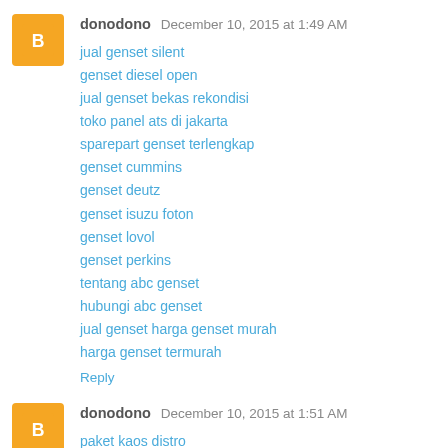donodono December 10, 2015 at 1:49 AM
jual genset silent
genset diesel open
jual genset bekas rekondisi
toko panel ats di jakarta
sparepart genset terlengkap
genset cummins
genset deutz
genset isuzu foton
genset lovol
genset perkins
tentang abc genset
hubungi abc genset
jual genset harga genset murah
harga genset termurah
Reply
donodono December 10, 2015 at 1:51 AM
paket kaos distro